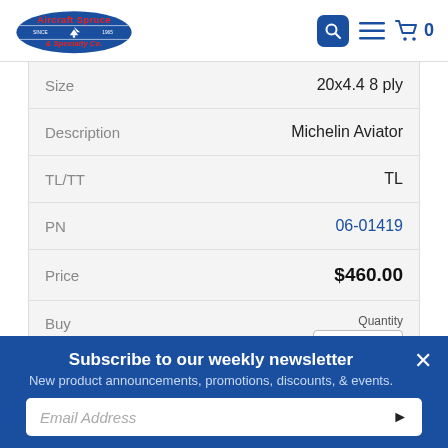[Figure (logo): Aircraft Spruce & Specialty Co. logo with search, menu, and cart icons]
| Field | Value |
| --- | --- |
| Size | 20x4.4 8 ply |
| Description | Michelin Aviator |
| TL/TT | TL |
| PN | 06-01419 |
| Price | $460.00 |
| Buy | Quantity |
Subscribe to our weekly newsletter
New product announcements, promotions, discounts, & events.
Email Address